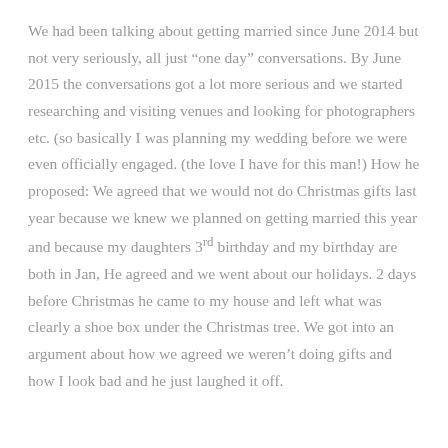We had been talking about getting married since June 2014 but not very seriously, all just “one day” conversations. By June 2015 the conversations got a lot more serious and we started researching and visiting venues and looking for photographers etc. (so basically I was planning my wedding before we were even officially engaged. (the love I have for this man!) How he proposed: We agreed that we would not do Christmas gifts last year because we knew we planned on getting married this year and because my daughters 3rd birthday and my birthday are both in Jan, He agreed and we went about our holidays. 2 days before Christmas he came to my house and left what was clearly a shoe box under the Christmas tree. We got into an argument about how we agreed we weren’t doing gifts and how I look bad and he just laughed it off.